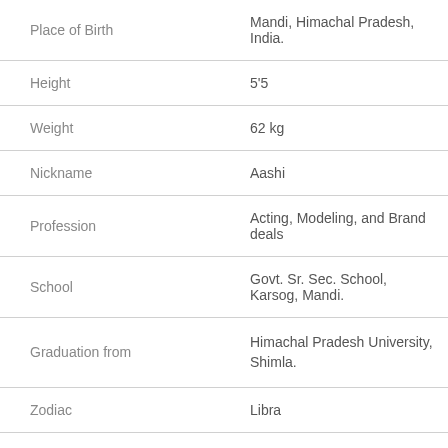| Field | Value |
| --- | --- |
| Place of Birth | Mandi, Himachal Pradesh, India. |
| Height | 5'5 |
| Weight | 62 kg |
| Nickname | Aashi |
| Profession | Acting, Modeling, and Brand deals |
| School | Govt. Sr. Sec. School, Karsog, Mandi. |
| Graduation from | Himachal Pradesh University, Shimla. |
| Zodiac | Libra |
| Father | Ramesh Sharma |